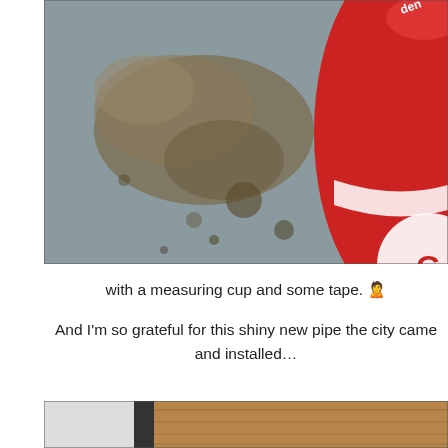[Figure (photo): Close-up photo of a dirty, stained concrete or metal floor surface with brown and grey patches, alongside a red cylindrical container (spray can or similar product) with partial text reading 'den', 'G', 'INT', 'PREMIUM', 'GUARANTEED RESULTS' visible on its label.]
with a measuring cup and some tape. 🙎
And I'm so grateful for this shiny new pipe the city came and installed…
[Figure (photo): Bottom portion of a photo showing a white object on the left and a wooden surface on the right, partially cropped.]